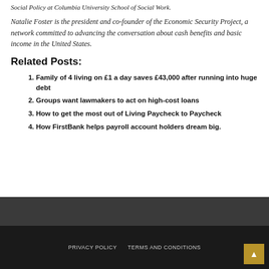Social Policy at Columbia University School of Social Work.
Natalie Foster is the president and co-founder of the Economic Security Project, a network committed to advancing the conversation about cash benefits and basic income in the United States.
Related Posts:
Family of 4 living on £1 a day saves £43,000 after running into huge debt
Groups want lawmakers to act on high-cost loans
How to get the most out of Living Paycheck to Paycheck
How FirstBank helps payroll account holders dream big.
PRIVACY POLICY   TERMS AND CONDITIONS